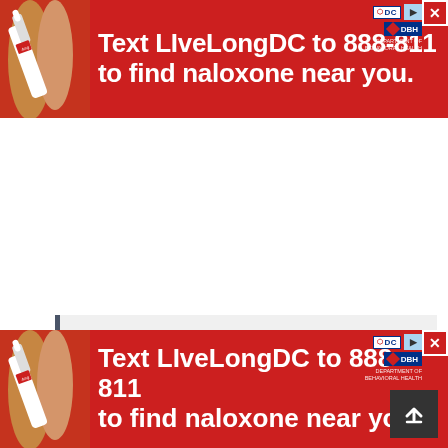[Figure (infographic): Red advertisement banner at top: 'Text LIveLongDC to 888-811 to find naloxone near you.' with DC Department of Behavioral Health logos and close button. Shows hands holding a naloxone nasal spray device.]
Recommended:  TASUED Hostel
Accommodation Fee for Fresh & Returning
[Figure (infographic): Red advertisement banner at bottom: 'Text LIveLongDC to 888-811 to find naloxone near you.' with DC Department of Behavioral Health logos and close button. Shows hands holding a naloxone nasal spray device.]